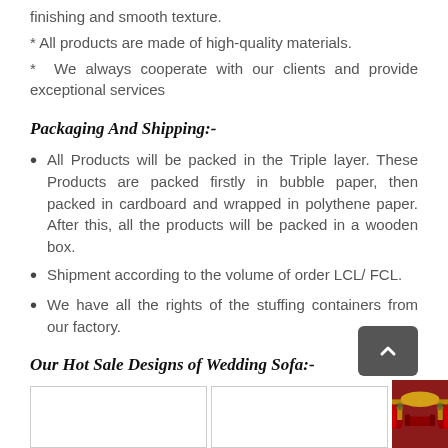finishing and smooth texture.
* All products are made of high-quality materials.
* We always cooperate with our clients and provide exceptional services
Packaging And Shipping:-
All Products will be packed in the Triple layer. These Products are packed firstly in bubble paper, then packed in cardboard and wrapped in polythene paper. After this, all the products will be packed in a wooden box.
Shipment according to the volume of order LCL/ FCL.
We have all the rights of the stuffing containers from our factory.
Our Hot Sale Designs of Wedding Sofa:-
[Figure (photo): Three thumbnail images of wedding sofa designs at the bottom of the page; two empty white boxes and one showing a decorated wedding sofa with red and gold draping]